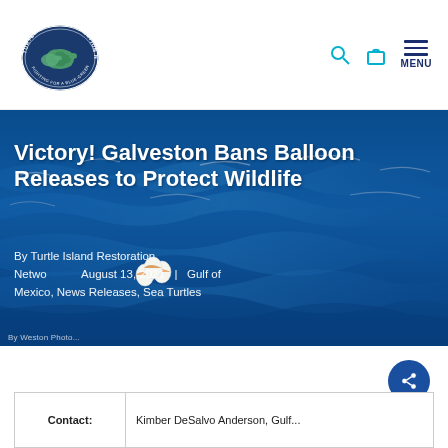[Figure (logo): Turtle Island Restoration Network logo — oval with sea turtles, text 'TURTLE ISLAND RESTORATION NETWORK' around border, 'FIGHTING FOR A BLUE-GREEN PLANET' at bottom]
Navigation icons: search, bag, menu
[Figure (photo): Ocean waves close-up with bright blue water, used as hero banner background. Photo credit text partially visible at bottom left.]
Victory! Galveston Bans Balloon Releases to Protect Wildlife
By Turtle Island Restoration Network   August 13, 2021  |  Gulf of Mexico, News Releases, Sea Turtles
By Weston Photo...
| Contact: | Kimber DeSalvo Anderson, Gulf... |
| --- | --- |